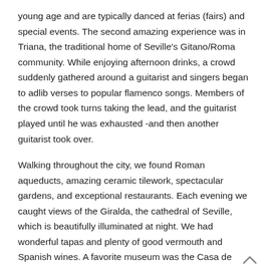young age and are typically danced at ferias (fairs) and special events. The second amazing experience was in Triana, the traditional home of Seville's Gitano/Roma community. While enjoying afternoon drinks, a crowd suddenly gathered around a guitarist and singers began to adlib verses to popular flamenco songs. Members of the crowd took turns taking the lead, and the guitarist played until he was exhausted -and then another guitarist took over.
Walking throughout the city, we found Roman aqueducts, amazing ceramic tilework, spectacular gardens, and exceptional restaurants. Each evening we caught views of the Giralda, the cathedral of Seville, which is beautifully illuminated at night. We had wonderful tapas and plenty of good vermouth and Spanish wines. A favorite museum was the Casa de Pilatos, the original residence of the Dukes of Medinaceli, which was amazing. The original owners gathered dozens of roman mosaics and statues and installed them in each room in her palatial home. The floors and many walls were covered in mosaics, as well as amazing art.